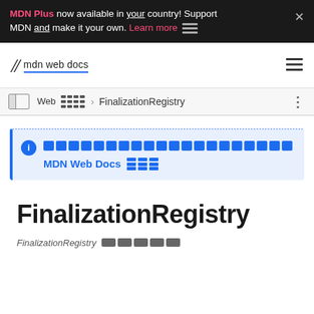MDN Plus now available in your country! Support MDN and make it your own. Learn more
[Figure (logo): MDN Web Docs logo and navigation bar with hamburger menu]
Web > FinalizationRegistry
[Info box with redacted content] MDN Web Docs [redacted]
FinalizationRegistry
FinalizationRegistry [redacted]